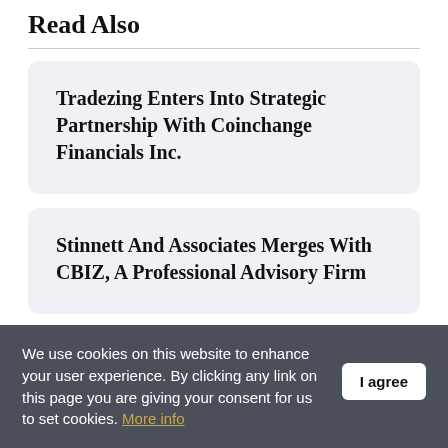Read Also
Tradezing Enters Into Strategic Partnership With Coinchange Financials Inc.
Stinnett And Associates Merges With CBIZ, A Professional Advisory Firm
We use cookies on this website to enhance your user experience. By clicking any link on this page you are giving your consent for us to set cookies. More info